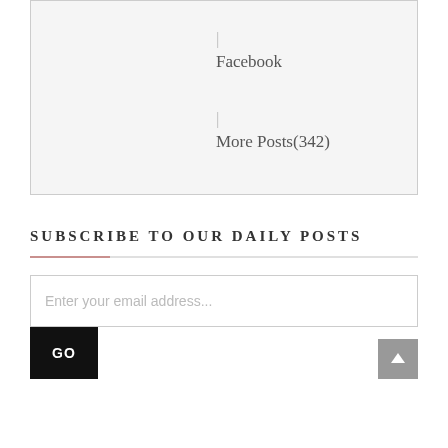[Figure (screenshot): A light grey bordered box containing two navigation links: a pipe symbol followed by 'Facebook' and a pipe symbol followed by 'More Posts(342)']
SUBSCRIBE TO OUR DAILY POSTS
[Figure (infographic): Email subscription form with input field placeholder 'Enter your email address...' and a black GO button. A grey back-to-top arrow button appears in the bottom right corner.]